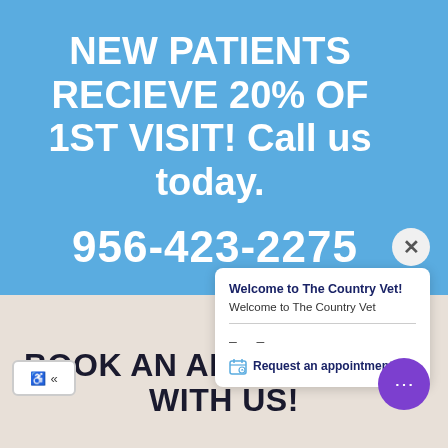NEW PATIENTS RECIEVE 20% OF 1ST VISIT! Call us today.
956-423-2275
Welcome to The Country Vet!
Welcome to The Country Vet
Request an appointment >
BOOK AN APPOINTMENT WITH US!